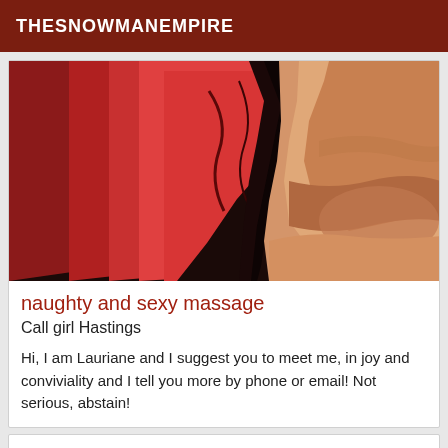THESNOWMANEMPIRE
[Figure (photo): Close-up photo of a person wearing red/pink clothing lying on a surface, showing skin and fabric details]
naughty and sexy massage
Call girl Hastings
Hi, I am Lauriane and I suggest you to meet me, in joy and conviviality and I tell you more by phone or email! Not serious, abstain!